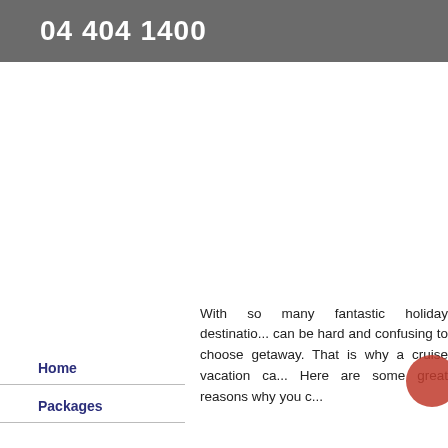04 404 1400
Home
Packages
With so many fantastic holiday destinatio... can be hard and confusing to choose getaway. That is why a cruise vacation ca... Here are some great reasons why you c...